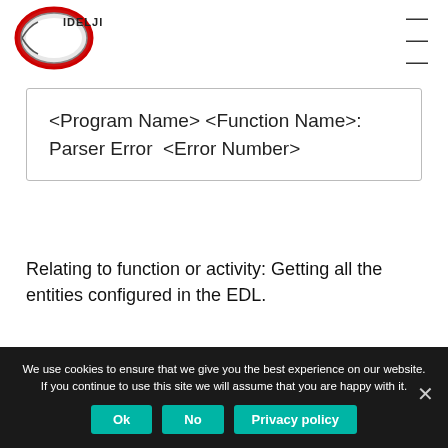IDELJI [logo] | hamburger menu
<Program Name> <Function Name>: Parser Error <Error Number>
Relating to function or activity: Getting all the entities configured in the EDL.
Cause: The SSG command to retrieve the
We use cookies to ensure that we give you the best experience on our website. If you continue to use this site we will assume that you are happy with it.